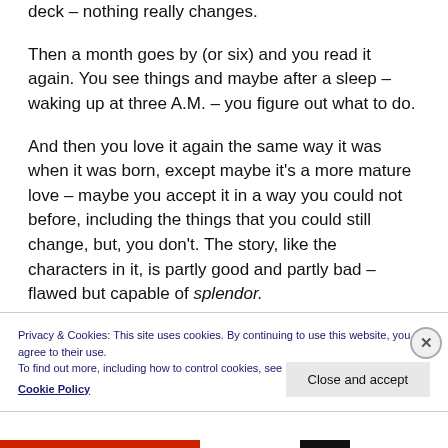deck – nothing really changes.
Then a month goes by (or six) and you read it again. You see things and maybe after a sleep – waking up at three A.M. – you figure out what to do.
And then you love it again the same way it was when it was born, except maybe it's a more mature love – maybe you accept it in a way you could not before, including the things that you could still change, but, you don't. The story, like the characters in it, is partly good and partly bad – flawed but capable of splendor.
Privacy & Cookies: This site uses cookies. By continuing to use this website, you agree to their use.
To find out more, including how to control cookies, see here:
Cookie Policy
Close and accept